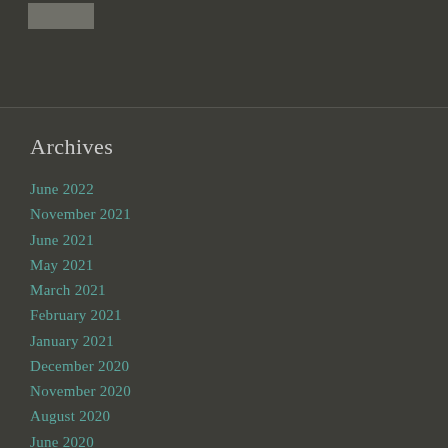[Figure (photo): Small thumbnail image in top-left area of dark header bar]
Archives
June 2022
November 2021
June 2021
May 2021
March 2021
February 2021
January 2021
December 2020
November 2020
August 2020
June 2020
April 2020